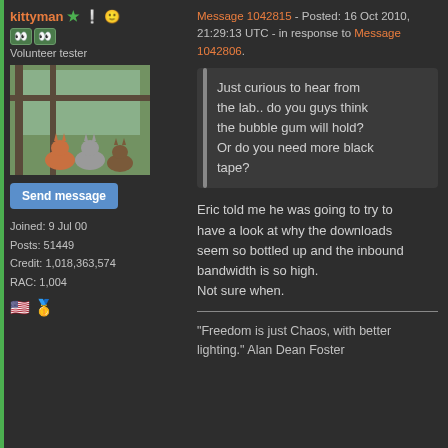kittyman ★ Volunteer tester
Send message
Joined: 9 Jul 00
Posts: 51449
Credit: 1,018,363,574
RAC: 1,004
Message 1042815 - Posted: 16 Oct 2010, 21:29:13 UTC - in response to Message 1042806.
Just curious to hear from the lab.. do you guys think the bubble gum will hold? Or do you need more black tape?
Eric told me he was going to try to have a look at why the downloads seem so bottled up and the inbound bandwidth is so high.
Not sure when.
"Freedom is just Chaos, with better lighting." Alan Dean Foster